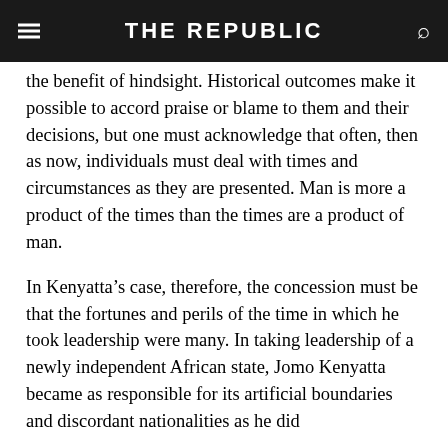THE REPUBLIC
the benefit of hindsight. Historical outcomes make it possible to accord praise or blame to them and their decisions, but one must acknowledge that often, then as now, individuals must deal with times and circumstances as they are presented. Man is more a product of the times than the times are a product of man.
In Kenyatta’s case, therefore, the concession must be that the fortunes and perils of the time in which he took leadership were many. In taking leadership of a newly independent African state, Jomo Kenyatta became as responsible for its artificial boundaries and discordant nationalities as he did